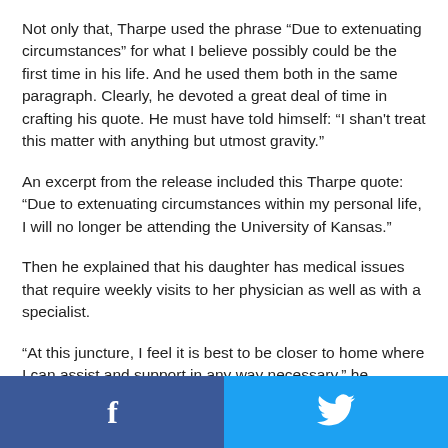Not only that, Tharpe used the phrase “Due to extenuating circumstances” for what I believe possibly could be the first time in his life. And he used them both in the same paragraph. Clearly, he devoted a great deal of time in crafting his quote. He must have told himself: “I shan't treat this matter with anything but utmost gravity.”
An excerpt from the release included this Tharpe quote: “Due to extenuating circumstances within my personal life, I will no longer be attending the University of Kansas.”
Then he explained that his daughter has medical issues that require weekly visits to her physician as well as with a specialist.
“At this juncture, I feel it is best to be closer to home where I can assist and support in any way necessary,” he continued.
[Figure (infographic): Social media share buttons: Facebook (dark blue, left half) and Twitter (light blue, right half), each with white icons centered]